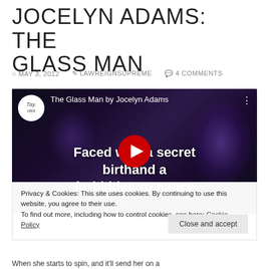JOCELYN ADAMS: THE GLASS MAN
MAY 3, 2012   LAWREIGNSUPREME   4 COMMENTS
[Figure (screenshot): YouTube video embed thumbnail for 'The Glass Man by Jocelyn Adams'. Dark purple/blue background with text 'Faced with a secret birth... and a forbidden romance'. YouTube play button visible in center. Channel badge with 'Tay...' logo in top-left corner.]
Privacy & Cookies: This site uses cookies. By continuing to use this website, you agree to their use.
To find out more, including how to control cookies, see here: Cookie Policy
Close and accept
When she starts to spin, and it'll send her on a